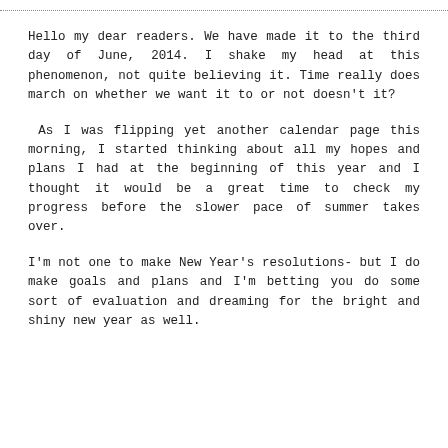Hello my dear readers. We have made it to the third day of June, 2014. I shake my head at this phenomenon, not quite believing it. Time really does march on whether we want it to or not doesn't it?
As I was flipping yet another calendar page this morning, I started thinking about all my hopes and plans I had at the beginning of this year and I thought it would be a great time to check my progress before the slower pace of summer takes over.
I'm not one to make New Year's resolutions- but I do make goals and plans and I'm betting you do some sort of evaluation and dreaming for the bright and shiny new year as well.